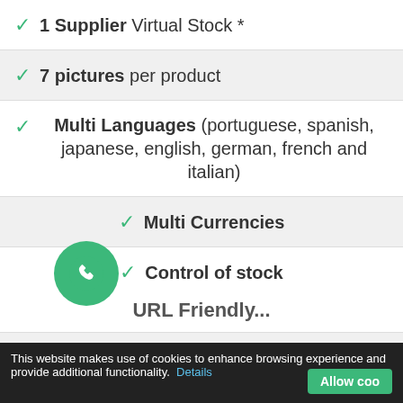✓ 1 Supplier Virtual Stock *
✓ 7 pictures per product
✓ Multi Languages (portuguese, spanish, japanese, english, german, french and italian)
✓ Multi Currencies
✓ Control of stock
✓ Certificate secure SSL shared
✓ Transactions online unli...
This website makes use of cookies to enhance browsing experience and provide additional functionality. Details   Allow coo...